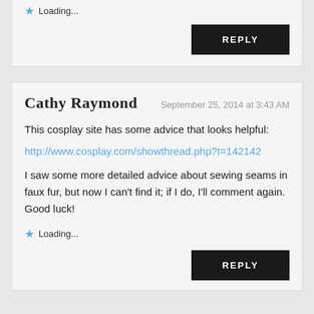Loading...
REPLY
Cathy Raymond
September 25, 2014 at 3:43 AM
This cosplay site has some advice that looks helpful:
http://www.cosplay.com/showthread.php?t=142142
I saw some more detailed advice about sewing seams in faux fur, but now I can't find it; if I do, I'll comment again. Good luck!
Loading...
REPLY